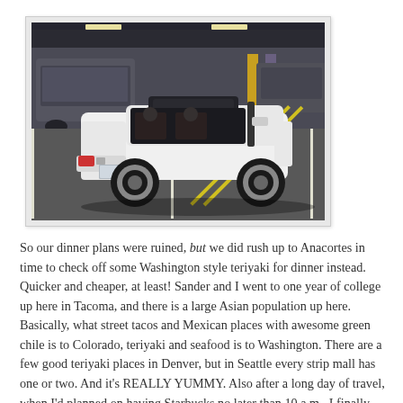[Figure (photo): A white MINI Cooper convertible parked in a parking garage, photographed from the rear. The top is down. Other vehicles visible in the background.]
So our dinner plans were ruined, but we did rush up to Anacortes in time to check off some Washington style teriyaki for dinner instead. Quicker and cheaper, at least! Sander and I went to one year of college up here in Tacoma, and there is a large Asian population up here. Basically, what street tacos and Mexican places with awesome green chile is to Colorado, teriyaki and seafood is to Washington. There are a few good teriyaki places in Denver, but in Seattle every strip mall has one or two. And it's REALLY YUMMY. Also after a long day of travel, when I'd planned on having Starbucks no later than 10 a.m., I finally grabbed a cuppa at